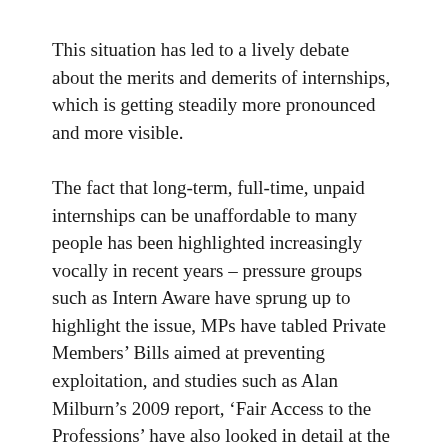This situation has led to a lively debate about the merits and demerits of internships, which is getting steadily more pronounced and more visible.
The fact that long-term, full-time, unpaid internships can be unaffordable to many people has been highlighted increasingly vocally in recent years – pressure groups such as Intern Aware have sprung up to highlight the issue, MPs have tabled Private Members' Bills aimed at preventing exploitation, and studies such as Alan Milburn's 2009 report, 'Fair Access to the Professions' have also looked in detail at the issue.